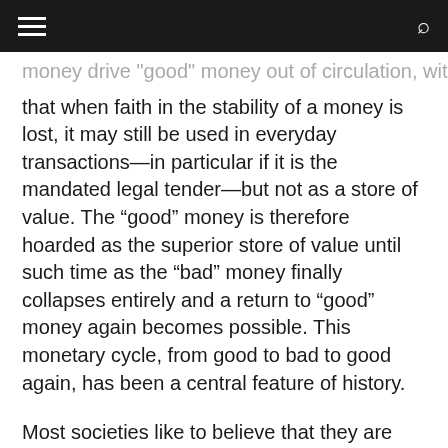money drive "good" money out of circulation, with it, that when faith in the stability of a money is lost, it may still be used in everyday transactions—in particular if it is the mandated legal tender—but not as a store of value. The “good” money is therefore hoarded as the superior store of value until such time as the “bad” money finally collapses entirely and a return to “good” money again becomes possible. This monetary cycle, from good to bad to good again, has been a central feature of history.
Most societies like to believe that they are somehow superior to those elsewhere or that have come before, although it is only natural that this assumption is called into question during difficult